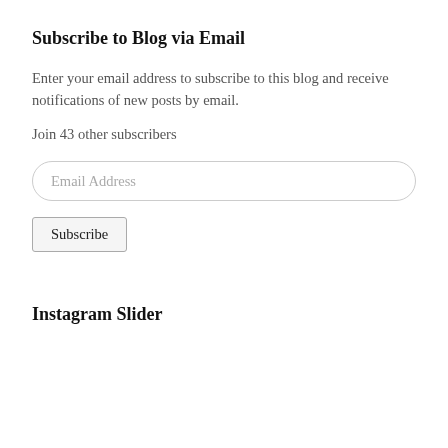Subscribe to Blog via Email
Enter your email address to subscribe to this blog and receive notifications of new posts by email.
Join 43 other subscribers
Email Address
Subscribe
Instagram Slider